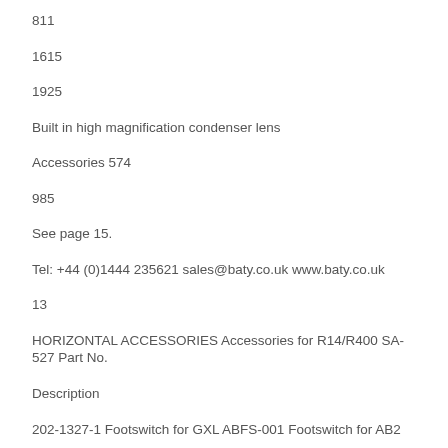811
1615
1925
Built in high magnification condenser lens
Accessories 574
985
See page 15.
Tel: +44 (0)1444 235621 sales@baty.co.uk www.baty.co.uk
13
HORIZONTAL ACCESSORIES Accessories for R14/R400 SA-527 Part No.
Description
202-1327-1 Footswitch for GXL ABFS-001 Footswitch for AB2